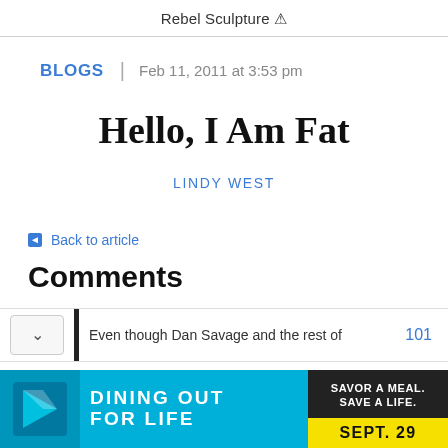Rebel Sculpture ⚠
BLOGS | Feb 11, 2011 at 3:53 pm
Hello, I Am Fat
LINDY WEST
◄ Back to article
Comments
Even though Dan Savage and the rest of
101
[Figure (infographic): Dining Out For Life advertisement banner: cyan background with arrow logo, text DINING OUT FOR LIFE, and SAVOR A MEAL. SAVE A LIFE. SEPT. 29]